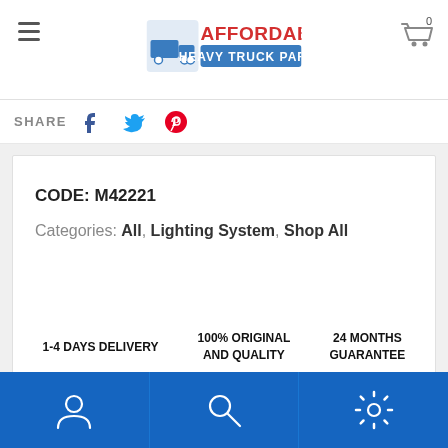Affordable Heavy Truck Parts — navigation header with hamburger menu, logo, and cart icon (0 items)
SHARE
CODE: M42221
Categories: All, Lighting System, Shop All
1-4 DAYS DELIVERY
100% ORIGINAL AND QUALITY
24 MONTHS GUARANTEE
Bottom navigation bar with account, search, and settings icons